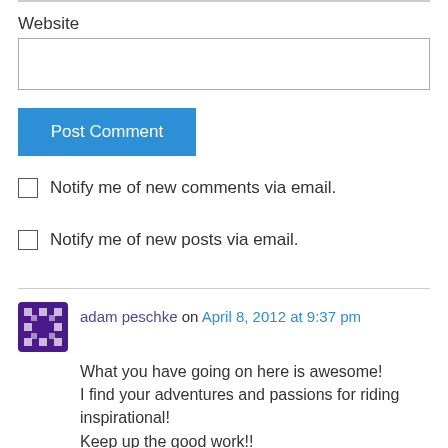Website
[Figure (screenshot): Empty website input text field with border]
Post Comment
Notify me of new comments via email.
Notify me of new posts via email.
adam peschke on April 8, 2012 at 9:37 pm
What you have going on here is awesome! I find your adventures and passions for riding inspirational! Keep up the good work!!